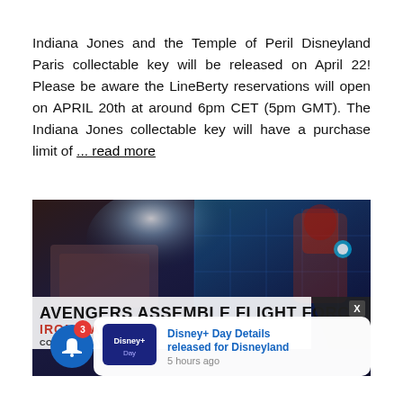Indiana Jones and the Temple of Peril Disneyland Paris collectable key will be released on April 22! Please be aware the LineBerty reservations will open on APRIL 20th at around 6pm CET (5pm GMT). The Indiana Jones collectable key will have a purchase limit of ... read more
[Figure (screenshot): Screenshot of a Disney theme park news article showing Avengers Assemble Flight Force Iron Man attraction banner, with a Disney+ Day notification popup in the bottom right and a bell notification button with badge showing 3 notifications.]